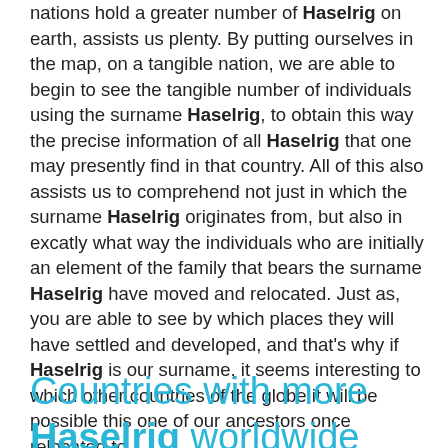nations hold a greater number of Haselrig on earth, assists us plenty. By putting ourselves in the map, on a tangible nation, we are able to begin to see the tangible number of individuals using the surname Haselrig, to obtain this way the precise information of all Haselrig that one may presently find in that country. All of this also assists us to comprehend not just in which the surname Haselrig originates from, but also in excatly what way the individuals who are initially an element of the family that bears the surname Haselrig have moved and relocated. Just as, you are able to see by which places they will have settled and developed, and that's why if Haselrig is our surname, it seems interesting to which other countries of the globe it will be possible this one of our ancestors once relocated to.
Countries with more Haselrig worldwide